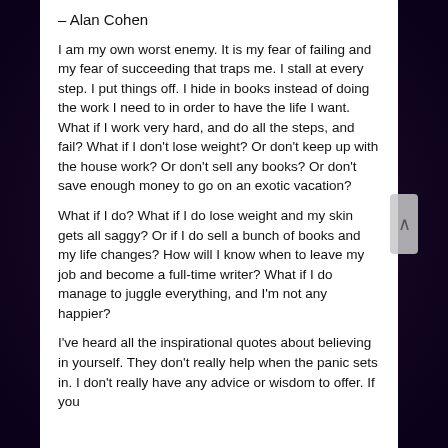– Alan Cohen
I am my own worst enemy. It is my fear of failing and my fear of succeeding that traps me. I stall at every step. I put things off. I hide in books instead of doing the work I need to in order to have the life I want. What if I work very hard, and do all the steps, and fail? What if I don't lose weight? Or don't keep up with the house work? Or don't sell any books? Or don't save enough money to go on an exotic vacation?
What if I do? What if I do lose weight and my skin gets all saggy? Or if I do sell a bunch of books and my life changes? How will I know when to leave my job and become a full-time writer? What if I do manage to juggle everything, and I'm not any happier?
I've heard all the inspirational quotes about believing in yourself. They don't really help when the panic sets in. I don't really have any advice or wisdom to offer. If you